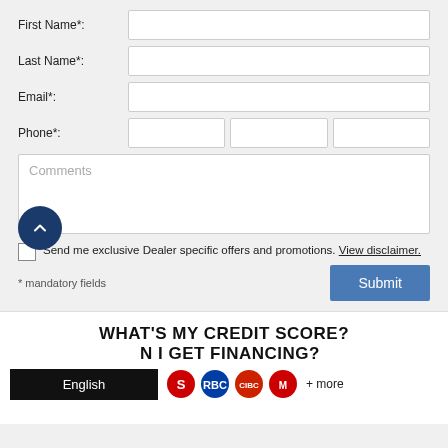First Name*:
Last Name*:
Email*:
Phone*:
Comments
Send me exclusive Dealer specific offers and promotions. View disclaimer.
* mandatory fields
Submit
WHAT'S MY CREDIT SCORE? CAN I GET FINANCING?
English
+ more